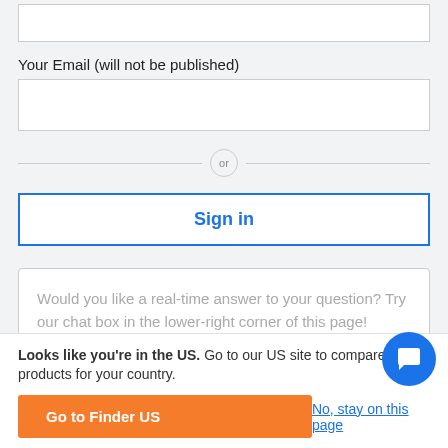[Figure (screenshot): Partial input field at the top of the page]
Your Email (will not be published)
[Figure (screenshot): Email input text field, empty]
or
Sign in
Would you like a real-time answer to your question? Try our chat box in the lower-right corner of this page!
Looks like you're in the US. Go to our US site to compare rele products for your country.
Go to Finder US
No, stay on this page